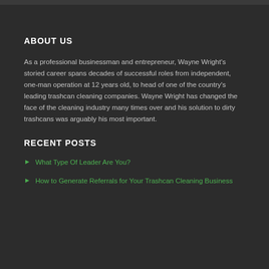ABOUT US
As a professional businessman and entrepreneur, Wayne Wright's storied career spans decades of successful roles from independent, one-man operation at 12 years old, to head of one of the country's leading trashcan cleaning companies. Wayne Wright has changed the face of the cleaning industry many times over and his solution to dirty trashcans was arguably his most important.
RECENT POSTS
What Type Of Leader Are You?
How to Generate Referrals for Your Trashcan Cleaning Business